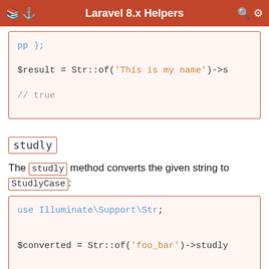Laravel 8.x Helpers
[Figure (screenshot): Code block showing $result = Str::of('This is my name')->s... and // true]
studly
The studly method converts the given string to StudlyCase:
[Figure (screenshot): Code block showing use Illuminate\Support\Str; $converted = Str::of('foo_bar')->studly(); // FooBar]